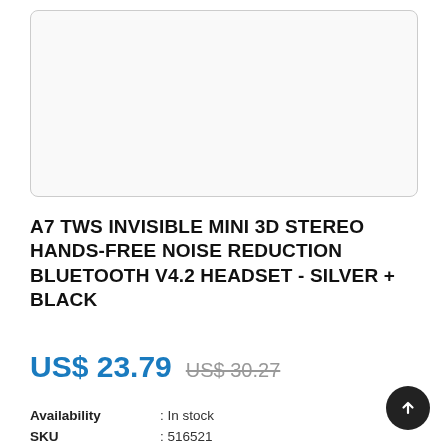[Figure (photo): Product image area — white/light grey box with rounded corners, presumably showing the A7 TWS earbuds product photo (cut off at top of page)]
A7 TWS INVISIBLE MINI 3D STEREO HANDS-FREE NOISE REDUCTION BLUETOOTH V4.2 HEADSET - SILVER + BLACK
US$ 23.79   US$ 30.27
Availability : In stock
SKU : 516521
The wireless buletooth stereo earbuds A7 utilize the latest TWS (True Wireless Stereo) Bluetooth technology,the audio frequency range is similar with WIFI signalCompatible Device. Bluetooth enabled mobile phones, tablets, computer watch